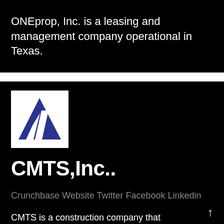ONEprop, Inc. is a leasing and management company operational in Texas.
[Figure (logo): CMTS Inc. logo: blue triangle with white diagonal stripe on white background square]
CMTS,Inc..
Crunchbase Website Twitter Facebook Linkedin
CMTS is a construction company that